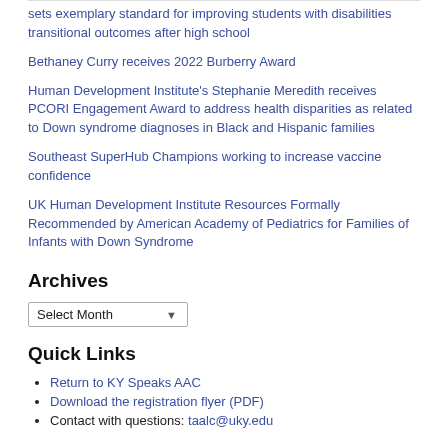sets exemplary standard for improving students with disabilities transitional outcomes after high school
Bethaney Curry receives 2022 Burberry Award
Human Development Institute's Stephanie Meredith receives PCORI Engagement Award to address health disparities as related to Down syndrome diagnoses in Black and Hispanic families
Southeast SuperHub Champions working to increase vaccine confidence
UK Human Development Institute Resources Formally Recommended by American Academy of Pediatrics for Families of Infants with Down Syndrome
Archives
Select Month
Quick Links
Return to KY Speaks AAC
Download the registration flyer (PDF)
Contact with questions: taalc@uky.edu
Archives
Select Month